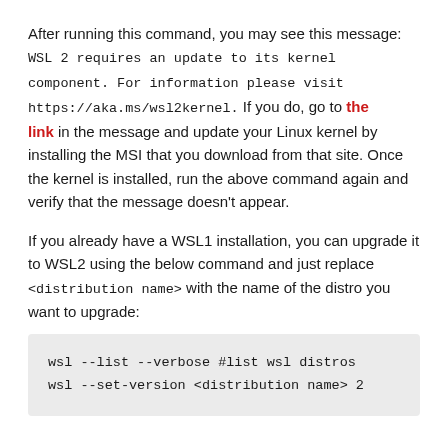After running this command, you may see this message: WSL 2 requires an update to its kernel component. For information please visit https://aka.ms/wsl2kernel. If you do, go to the link in the message and update your Linux kernel by installing the MSI that you download from that site. Once the kernel is installed, run the above command again and verify that the message doesn't appear.
If you already have a WSL1 installation, you can upgrade it to WSL2 using the below command and just replace <distribution name> with the name of the distro you want to upgrade:
wsl --list --verbose #list wsl distros
wsl --set-version <distribution name> 2